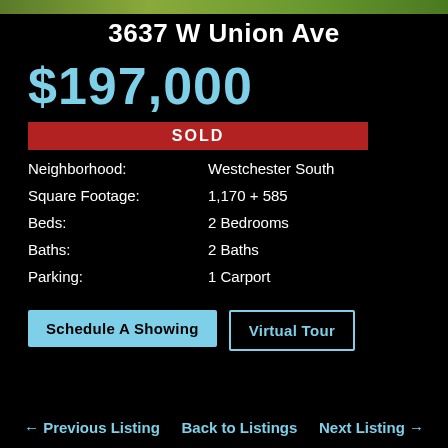3637 W Union Ave
$197,000
SOLD
| Label | Value |
| --- | --- |
| Neighborhood: | Westchester South |
| Square Footage: | 1,170 + 585 |
| Beds: | 2 Bedrooms |
| Baths: | 2 Baths |
| Parking: | 1 Carport |
Schedule A Showing
Virtual Tour
← Previous Listing   Back to Listings   Next Listing →